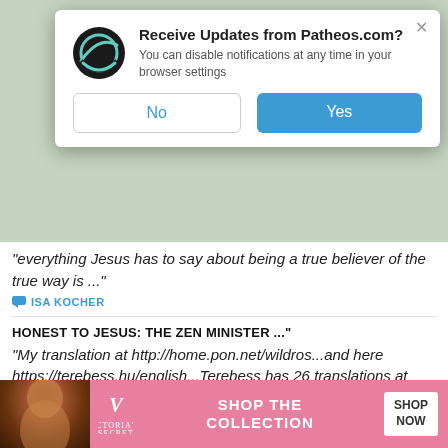[Figure (screenshot): Browser notification popup from Patheos.com with Patheos logo, title 'Receive Updates from Patheos.com?', subtitle text, and No/Yes buttons]
"everything Jesus has to say about being a true believer of the true way is ..."
ISA KOCHER
HONEST TO JESUS: THE ZEN MINISTER ..."
"My translation at http://home.pon.net/wildros...and here https://terebess.hu/english...Terebess has 26 translations at https://terebess.hu/zen/tex..."
GREGORY WONDERWHEEL
FAITH IN MIND, THE XINXINMING, A ..."
BROWSE OUR ARCHIVES
[Figure (photo): Victoria's Secret advertisement banner with model photo and 'SHOP THE COLLECTION' text with 'SHOP NOW' button]